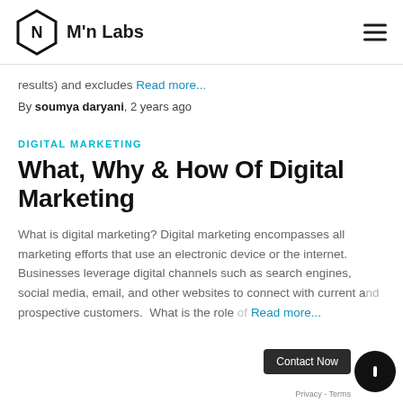M'n Labs
results) and excludes Read more...
By soumya daryani, 2 years ago
DIGITAL MARKETING
What, Why & How Of Digital Marketing
What is digital marketing? Digital marketing encompasses all marketing efforts that use an electronic device or the internet. Businesses leverage digital channels such as search engines, social media, email, and other websites to connect with current and prospective customers.  What is the role of digital marketing in a company? Read more...